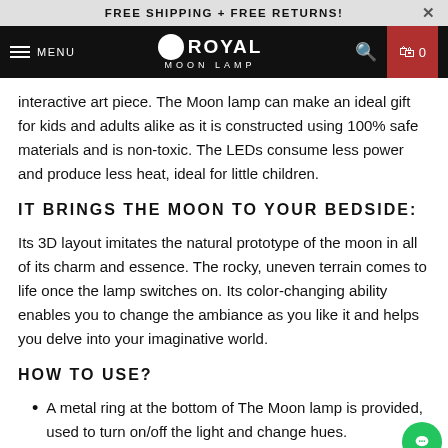FREE SHIPPING + FREE RETURNS!
[Figure (screenshot): Royal Moon Lamp website navigation bar with hamburger menu, MENU text, Royal Moon Lamp logo, search icon, and shopping cart icon with 0 items on dark background with red cart area.]
interactive art piece. The Moon lamp can make an ideal gift for kids and adults alike as it is constructed using 100% safe materials and is non-toxic. The LEDs consume less power and produce less heat, ideal for little children.
IT BRINGS THE MOON TO YOUR BEDSIDE:
Its 3D layout imitates the natural prototype of the moon in all of its charm and essence. The rocky, uneven terrain comes to life once the lamp switches on. Its color-changing ability enables you to change the ambiance as you like it and helps you delve into your imaginative world.
HOW TO USE?
A metal ring at the bottom of The Moon lamp is provided, used to turn on/off the light and change hues.